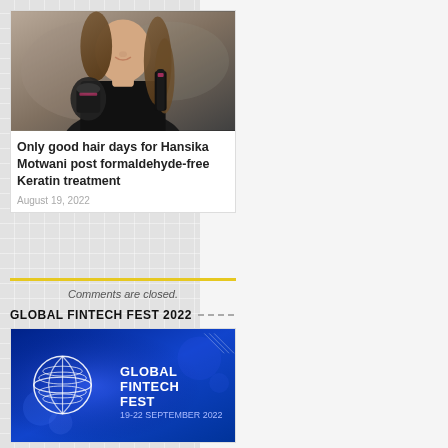[Figure (photo): Woman holding hair care products against muted background]
Only good hair days for Hansika Motwani post formaldehyde-free Keratin treatment
August 19, 2022
Comments are closed.
GLOBAL FINTECH FEST 2022
[Figure (logo): Global Fintech Fest 2022 advertisement banner with globe logo, blue background, 19-22 September 2022]